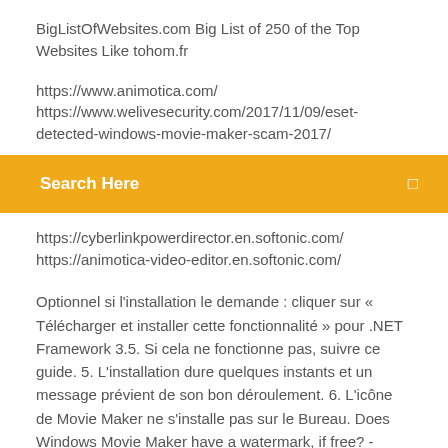BigListOfWebsites.com Big List of 250 of the Top Websites Like tohom.fr
https://www.animotica.com/
https://www.welivesecurity.com/2017/11/09/eset-detected-windows-movie-maker-scam-2017/
Search Here
https://cyberlinkpowerdirector.en.softonic.com/
https://animotica-video-editor.en.softonic.com/
Optionnel si l'installation le demande : cliquer sur « Télécharger et installer cette fonctionnalité » pour .NET Framework 3.5. Si cela ne fonctionne pas, suivre ce guide. 5. L'installation dure quelques instants et un message prévient de son bon déroulement. 6. L'icône de Movie Maker ne s'installe pas sur le Bureau. Does Windows Movie Maker have a watermark, if free? - Quora Windows Movie Maker when it was available from